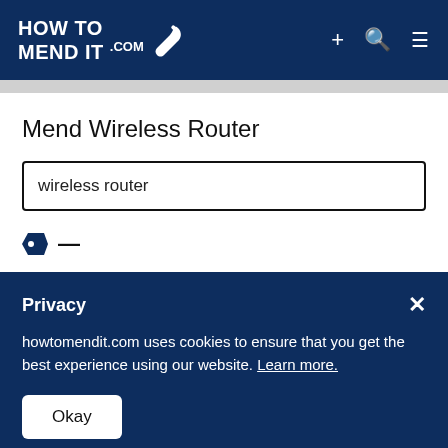HOW TO MEND IT .com
Mend Wireless Router
wireless router
Privacy
howtomendit.com uses cookies to ensure that you get the best experience using our website. Learn more.
Okay